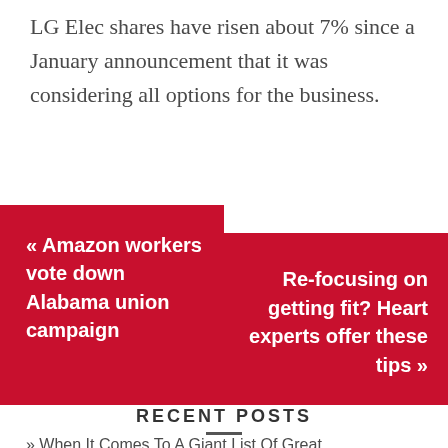LG Elec shares have risen about 7% since a January announcement that it was considering all options for the business.
« Amazon workers vote down Alabama union campaign
Re-focusing on getting fit? Heart experts offer these tips »
RECENT POSTS
» When It Comes To A Giant List Of Great